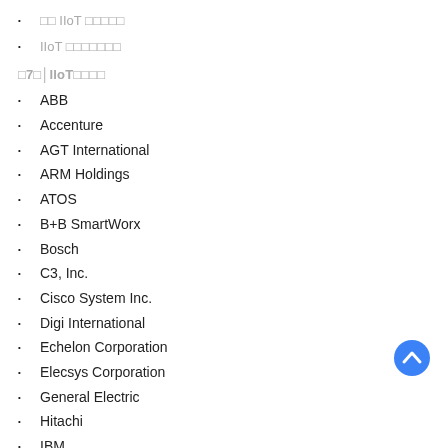IIoT
IIoT
7 │IIoT
ABB
Accenture
AGT International
ARM Holdings
ATOS
B+B SmartWorx
Bosch
C3, Inc.
Cisco System Inc.
Digi International
Echelon Corporation
Elecsys Corporation
General Electric
Hitachi
IBM
Oracle